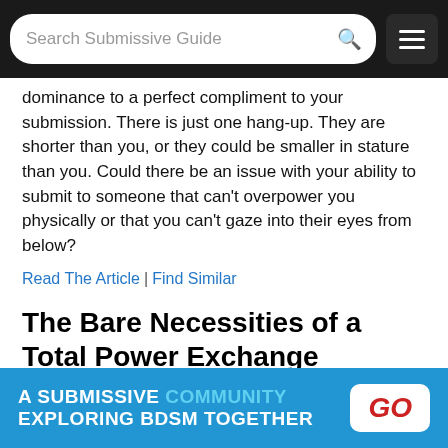Search Submissive Guide
dominance to a perfect compliment to your submission. There is just one hang-up. They are shorter than you, or they could be smaller in stature than you. Could there be an issue with your ability to submit to someone that can't overpower you physically or that you can't gaze into their eyes from below?
Read The Article | Find Similar
The Bare Necessities of a Total Power Exchange Relationship
What do I absolutely have to have in order for my submission to him to be fulfilling and rewarding? What makes our relationship work after 6 years and with no hint of failing?
Read The Article | Find Similar
What Should I Try Next: Like Bondage & Try Magnification...
A SUBMISSIVE COMMUNITY EXPLORING BDSM TOGETHER GO